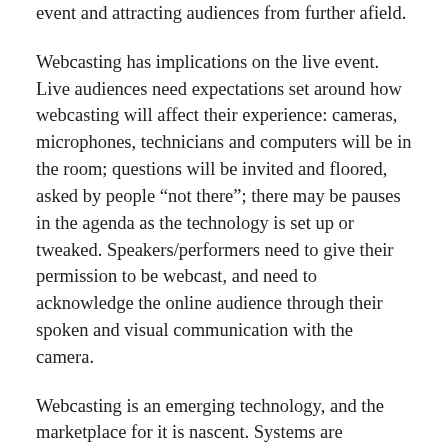event and attracting audiences from further afield.
Webcasting has implications on the live event. Live audiences need expectations set around how webcasting will affect their experience: cameras, microphones, technicians and computers will be in the room; questions will be invited and floored, asked by people “not there”; there may be pauses in the agenda as the technology is set up or tweaked. Speakers/performers need to give their permission to be webcast, and need to acknowledge the online audience through their spoken and visual communication with the camera.
Webcasting is an emerging technology, and the marketplace for it is nascent. Systems are improving iteratively (the quality and service from webcasting and broadband providers is better than a year ago, it will be better next year). But people and the planet are better off with the new technology – webcasting is a good, sustainable technology,